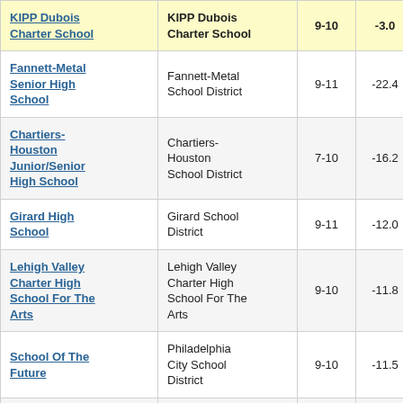| School | District | Grades | Score |  |
| --- | --- | --- | --- | --- |
| KIPP Dubois Charter School | KIPP Dubois Charter School | 9-10 | -3.0 | 3 |
| Fannett-Metal Senior High School | Fannett-Metal School District | 9-11 | -22.4 |  |
| Chartiers-Houston Junior/Senior High School | Chartiers-Houston School District | 7-10 | -16.2 |  |
| Girard High School | Girard School District | 9-11 | -12.0 |  |
| Lehigh Valley Charter High School For The Arts | Lehigh Valley Charter High School For The Arts | 9-10 | -11.8 |  |
| School Of The Future | Philadelphia City School District | 9-10 | -11.5 |  |
|  |  |  |  |  |